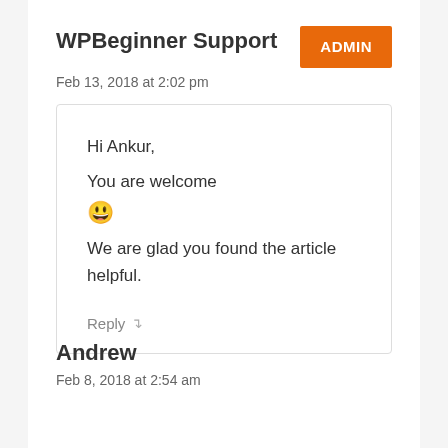WPBeginner Support
Feb 13, 2018 at 2:02 pm
Hi Ankur,

You are welcome 😀
We are glad you found the article helpful.
Reply
Andrew
Feb 8, 2018 at 2:54 am